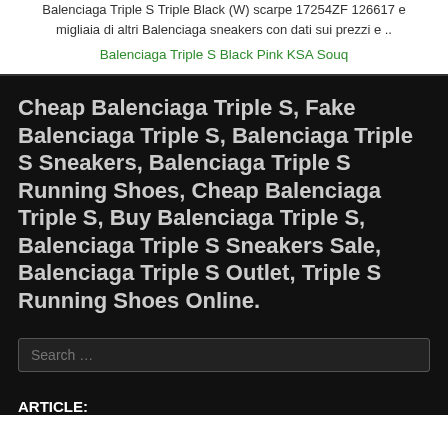Balenciaga Triple S Triple Black (W) scarpe 17254ZF 126617 e migliaia di altri Balenciaga sneakers con dati sui prezzi e ..
Balenciaga Triple S Black Pink KSA Souq
Cheap Balenciaga Triple S, Fake Balenciaga Triple S, Balenciaga Triple S Sneakers, Balenciaga Triple S Running Shoes, Cheap Balenciaga Triple S, Buy Balenciaga Triple S, Balenciaga Triple S Sneakers Sale, Balenciaga Triple S Outlet, Triple S Running Shoes Online.
Search ...
ARTICLE: